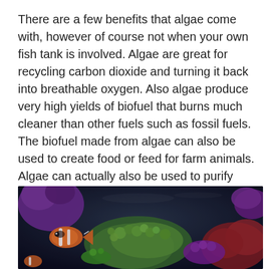There are a few benefits that algae come with, however of course not when your own fish tank is involved. Algae are great for recycling carbon dioxide and turning it back into breathable oxygen. Also algae produce very high yields of biofuel that burns much cleaner than other fuels such as fossil fuels. The biofuel made from algae can also be used to create food or feed for farm animals. Algae can actually also be used to purify water systems and even to create a variety of products such as lubricants, plastics, cosmetics, and fertilizers among other things.
[Figure (photo): Underwater photograph of a coral reef with colorful algae, corals, and a clownfish visible at the left side. Vibrant greens, purples, reds and oranges visible in a dark aquatic environment.]